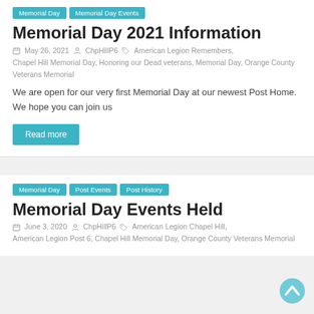Memorial Day | Memorial Day Events
Memorial Day 2021 Information
May 26, 2021  ChpHillP6  American Legion Remembers, Chapel Hill Memorial Day, Honoring our Dead veterans, Memorial Day, Orange County Veterans Memorial
We are open for our very first Memorial Day at our newest Post Home.  We hope you can join us
Read more
Memorial Day | Post Events | Post History
Memorial Day Events Held
June 3, 2020  ChpHillP6  American Legion Chapel Hill, American Legion Post 6, Chapel Hill Memorial Day, Orange County Veterans Memorial